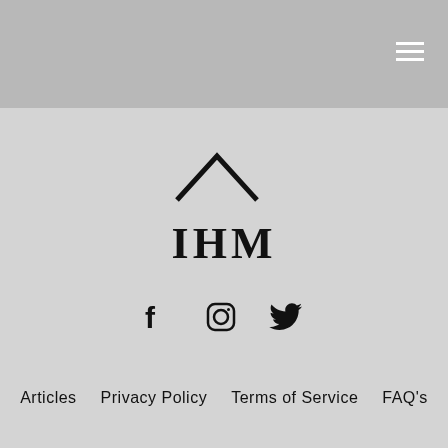[Figure (logo): IHM logo with chevron/roof icon above bold IHM text]
[Figure (infographic): Social media icons: Facebook, Instagram, Twitter]
Articles   Privacy Policy   Terms of Service   FAQ's
InHouse Management, LLC
114 John Street., Suite 928
New York, NY 10272